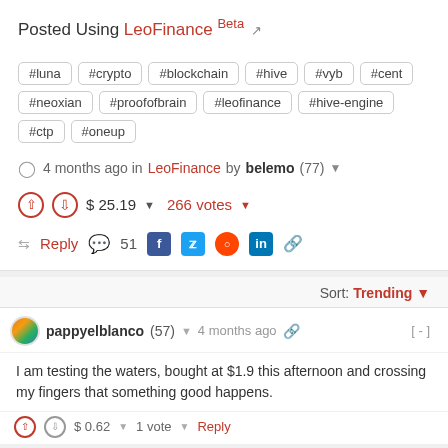Posted Using LeoFinance Beta
#luna #crypto #blockchain #hive #vyb #cent #neoxian #proofofbrain #leofinance #hive-engine #ctp #oneup
4 months ago in LeoFinance by belemo (77)
$ 25.19   266 votes
Reply   51
Sort: Trending
pappyelblanco (57)  4 months ago
I am testing the waters, bought at $1.9 this afternoon and crossing my fingers that something good happens.
$ 0.62   1 vote   Reply